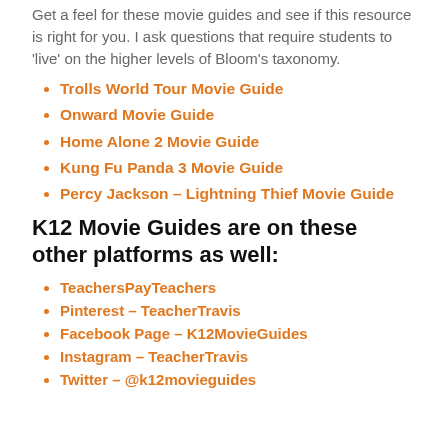Get a feel for these movie guides and see if this resource is right for you. I ask questions that require students to 'live' on the higher levels of Bloom's taxonomy.
Trolls World Tour Movie Guide
Onward Movie Guide
Home Alone 2 Movie Guide
Kung Fu Panda 3 Movie Guide
Percy Jackson – Lightning Thief Movie Guide
K12 Movie Guides are on these other platforms as well:
TeachersPayTeachers
Pinterest – TeacherTravis
Facebook Page – K12MovieGuides
Instagram – TeacherTravis
Twitter – @k12movieguides